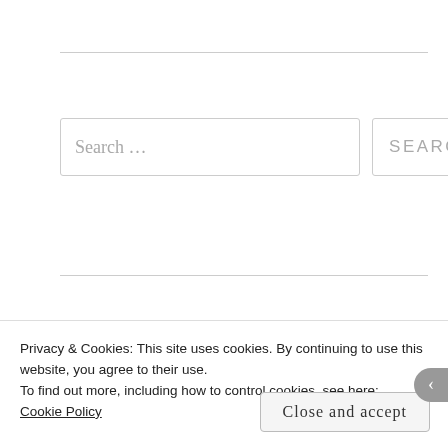Search …
Recent Posts
Trusting that I am Where I Should Be
Looking Back and Ahead: Reflecting on My Words for
Privacy & Cookies: This site uses cookies. By continuing to use this website, you agree to their use. To find out more, including how to control cookies, see here: Cookie Policy
Close and accept